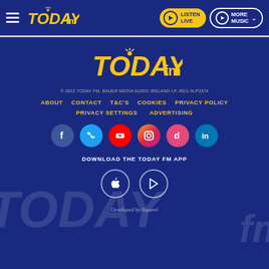[Figure (screenshot): Today FM website header with hamburger menu, Today FM logo, Listen Live button, and More Music button on dark blue background]
[Figure (logo): Today FM logo in yellow on dark blue background]
© 2022 TODAY FM, BAUER MEDIA AUDIO IRELAND LP, REG #LP3374
ABOUT
CONTACT
T&C'S
COOKIES
PRIVACY POLICY
PRIVACY SETTINGS
ADVERTISING
[Figure (infographic): Social media icons: Facebook, Twitter, YouTube, Instagram, TikTok, LinkedIn]
DOWNLOAD THE TODAY FM APP
[Figure (infographic): App store download buttons: Apple App Store and Google Play Store]
Developed by Squarel